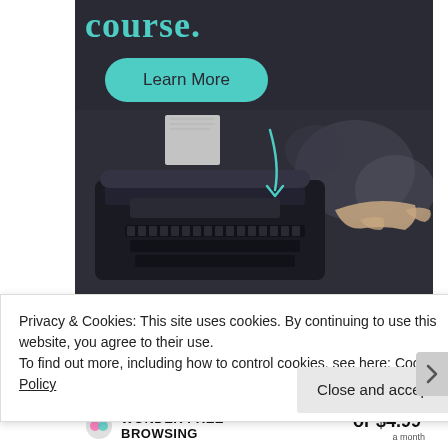[Figure (photo): Dark-toned promotional image showing a person typing on a vintage typewriter with a teal arrow overlay and a 'Learn More' button on dark background with text 'course.' visible at top]
Privacy & Cookies: This site uses cookies. By continuing to use this website, you agree to their use.
To find out more, including how to control cookies, see here: Cookie Policy
Close and accept